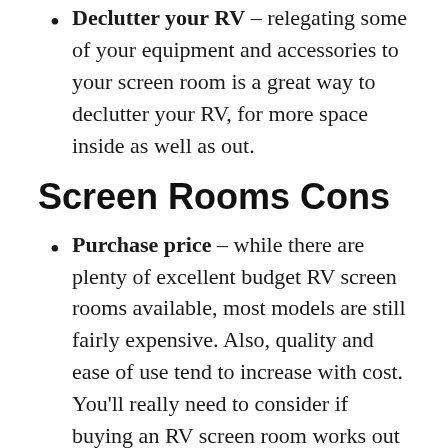Declutter your RV – relegating some of your equipment and accessories to your screen room is a great way to declutter your RV, for more space inside as well as out.
Screen Rooms Cons
Purchase price – while there are plenty of excellent budget RV screen rooms available, most models are still fairly expensive. Also, quality and ease of use tend to increase with cost. You'll really need to consider if buying an RV screen room works out as value for money for you and if you'll get your anticipated usage out of it.
Can be tricky to put up – most RVers